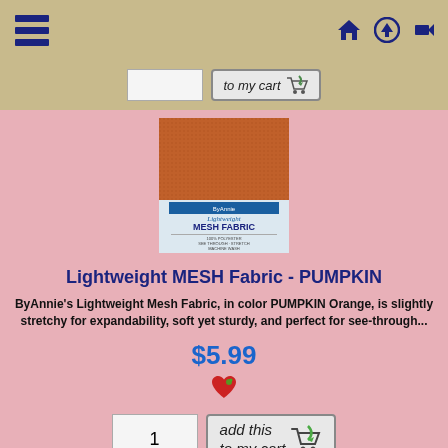[Figure (screenshot): Hamburger menu icon (three horizontal dark blue bars)]
[Figure (screenshot): Navigation icons: home, upload/up-arrow, login arrow]
[Figure (screenshot): Add to cart button with cart icon (top bar)]
[Figure (photo): Product photo of Lightweight MESH Fabric in Pumpkin Orange color, showing folded fabric swatch with label reading Mesh Fabric]
Lightweight MESH Fabric - PUMPKIN
ByAnnie's Lightweight Mesh Fabric, in color PUMPKIN Orange, is slightly stretchy for expandability, soft yet sturdy, and perfect for see-through...
$5.99
[Figure (illustration): Heart/strawberry emoji icon]
[Figure (screenshot): Quantity input field with value 1 and add this to my cart button with cart icon]
[Figure (photo): Bottom portion of next product - purple/dark mesh fabric swatch]